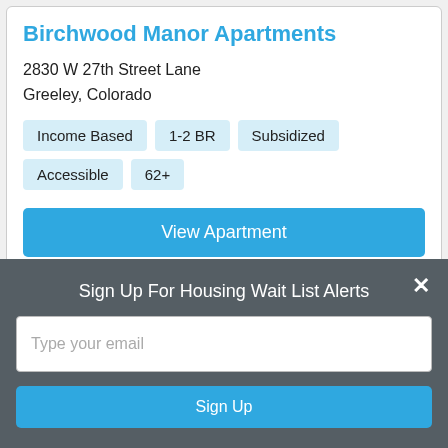Birchwood Manor Apartments
2830 W 27th Street Lane
Greeley, Colorado
Income Based
1-2 BR
Subsidized
Accessible
62+
View Apartment
Sign Up For Housing Wait List Alerts
Type your email
Sign Up